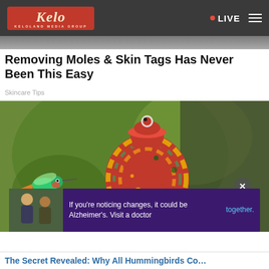KELOLAND MEDIA GROUP — LIVE
[Figure (photo): Partial photo strip at top of page, showing partial face/background]
Removing Moles & Skin Tags Has Never Been This Easy
Skincare Tips
[Figure (photo): Main article image: a red and yellow swirled glass decorative jar/urn with a hummingbird flying to the left, against a green bokeh background. An advertisement overlay partially covers the bottom.]
If you're noticing changes, it could be Alzheimer's. Visit a doctor together.
The Secret Revealed: Why All Hummingbirds Co…